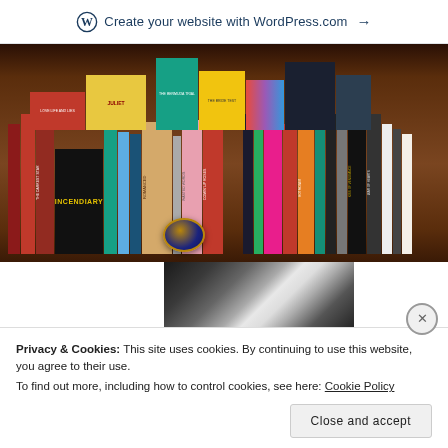Create your website with WordPress.com →
[Figure (photo): A wooden bookshelf filled with many books of various colors and sizes, including visible titles such as INCENDIARY, JULIET, ROMANCED, WASTED WORDS, COMIN' UP ROSES, Queen's Mystic, THE DARKEST STAR, KISS OF VENGEANCE, WAR OF HEARTS, and many others.]
[Figure (photo): Partial photo showing what appears to be feathers or a feathered costume, dark background with white/cream feather details.]
Privacy & Cookies: This site uses cookies. By continuing to use this website, you agree to their use.
To find out more, including how to control cookies, see here: Cookie Policy
Close and accept